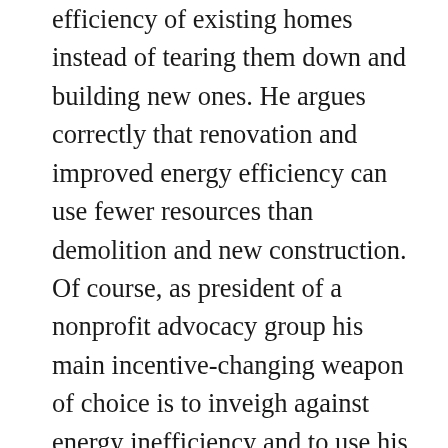efficiency of existing homes instead of tearing them down and building new ones. He argues correctly that renovation and improved energy efficiency can use fewer resources than demolition and new construction. Of course, as president of a nonprofit advocacy group his main incentive-changing weapon of choice is to inveigh against energy inefficiency and to use his public pulpit to implore homeowners to increase their energy efficiency renovations in old homes. His argument would have more impact in changing individual homeowner incentives and reducing energy use if he used his pulpit to argue for meaningful regulatory reform in retail electricity markets. Want a real incentive to insulate this old drafty house? Make electricity service costs more transparent to consumers, and